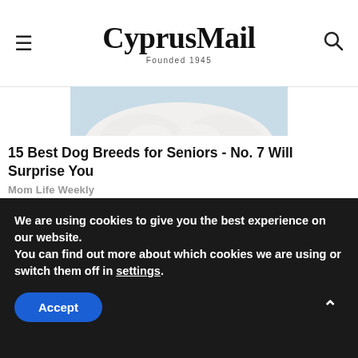CyprusMail Founded 1945
[Figure (photo): Partial image of a white fluffy dog against a light blue background (cropped, only bottom portion visible)]
15 Best Dog Breeds for Seniors - No. 7 Will Surprise You
Mom Life Weekly
[Figure (photo): A pile of dark green oval/round tablets or supplements (spirulina or similar) on a white background]
We are using cookies to give you the best experience on our website.
You can find out more about which cookies we are using or switch them off in settings.
Accept